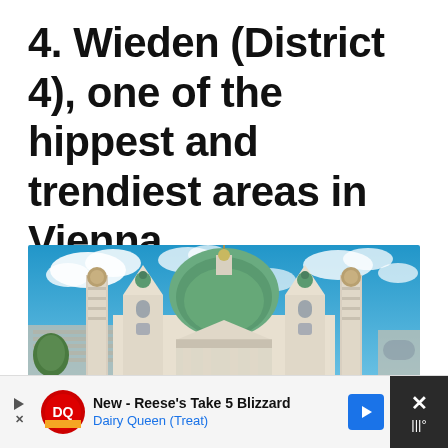4. Wieden (District 4), one of the hippest and trendiest areas in Vienna
[Figure (photo): Karlskirche (St. Charles's Church) in Vienna, Austria — a baroque church with a large green dome, two flanking columns, and ornate towers, photographed against a bright blue sky with white clouds]
[Figure (screenshot): Advertisement bar: Dairy Queen ad — 'New - Reese's Take 5 Blizzard' with DQ logo, blue arrow button, and a dark right panel with X icon]